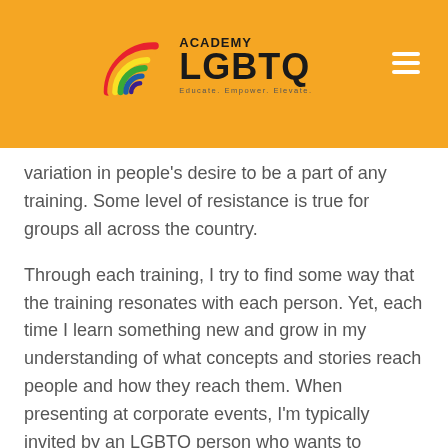[Figure (logo): Academy LGBTQ logo with rainbow arc graphic and tagline 'Educate. Empower. Elevate.']
variation in people's desire to be a part of any training. Some level of resistance is true for groups all across the country.
Through each training, I try to find some way that the training resonates with each person. Yet, each time I learn something new and grow in my understanding of what concepts and stories reach people and how they reach them. When presenting at corporate events, I'm typically invited by an LGBTQ person who wants to provide an educational experience for their colleagues